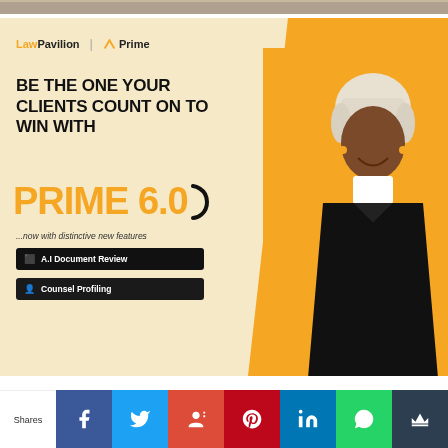[Figure (photo): Partial photo strip at top of page]
[Figure (illustration): LawPavilion Prime 6.0 advertisement banner featuring a smiling female lawyer in black robe and white wig on an orange and cream background. Text reads: BE THE ONE YOUR CLIENTS COUNT ON TO WIN WITH PRIME 6.0 ...now with distinctive new features. Features listed: A.I Document Review, Counsel Profiling. Logo shows LawPavilion | Prime.]
Shares
[Figure (infographic): Social sharing bar with Facebook, Twitter, Google+, Pinterest, LinkedIn, WhatsApp, and Mightyshare buttons]